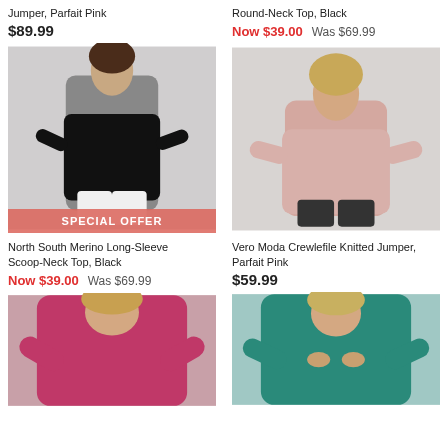Jumper, Parfait Pink
$89.99
[Figure (photo): Woman wearing black long-sleeve scoop-neck top with white pants, with SPECIAL OFFER banner overlay]
North South Merino Long-Sleeve Scoop-Neck Top, Black
Now $39.00  Was $69.99
[Figure (photo): Woman in pink fluffy knitted jumper with dark pants]
Round-Neck Top, Black
Now $39.00  Was $69.99
Vero Moda Crewlefile Knitted Jumper, Parfait Pink
$59.99
[Figure (photo): Woman in bright magenta/hot pink knitted jumper]
[Figure (photo): Woman in teal/green knitted jumper]